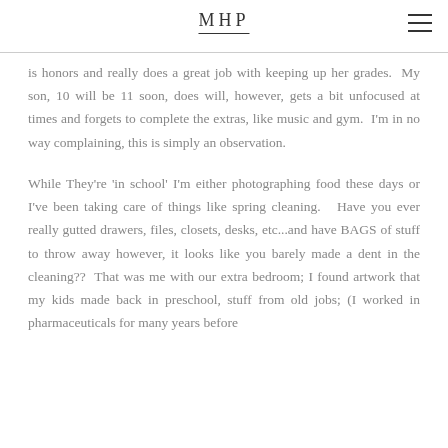MHP
is honors and really does a great job with keeping up her grades.  My son, 10 will be 11 soon, does will, however, gets a bit unfocused at times and forgets to complete the extras, like music and gym.  I'm in no way complaining, this is simply an observation.
While They're 'in school' I'm either photographing food these days or I've been taking care of things like spring cleaning.   Have you ever really gutted drawers, files, closets, desks, etc...and have BAGS of stuff to throw away however, it looks like you barely made a dent in the cleaning??  That was me with our extra bedroom; I found artwork that my kids made back in preschool, stuff from old jobs; (I worked in pharmaceuticals for many years before